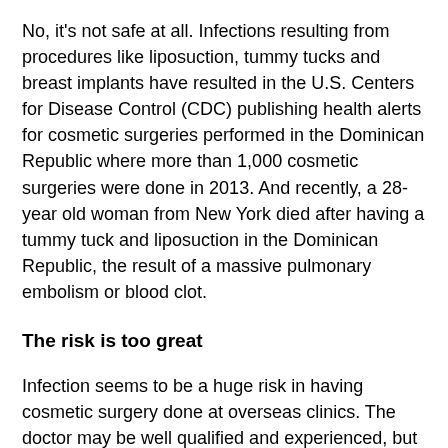No, it's not safe at all. Infections resulting from procedures like liposuction, tummy tucks and breast implants have resulted in the U.S. Centers for Disease Control (CDC) publishing health alerts for cosmetic surgeries performed in the Dominican Republic where more than 1,000 cosmetic surgeries were done in 2013. And recently, a 28-year old woman from New York died after having a tummy tuck and liposuction in the Dominican Republic, the result of a massive pulmonary embolism or blood clot.
The risk is too great
Infection seems to be a huge risk in having cosmetic surgery done at overseas clinics. The doctor may be well qualified and experienced, but the risk involves medical staff who may not be as experienced or have enough training. Other risks include infection caused by bacteria due to contamination. These are the milder risks. The real danger is having surgery performed by unqualified, unlicensed, inexperienced unethical practitioners who are clearly taking advantage of those who come to them to improve their appearance. It is